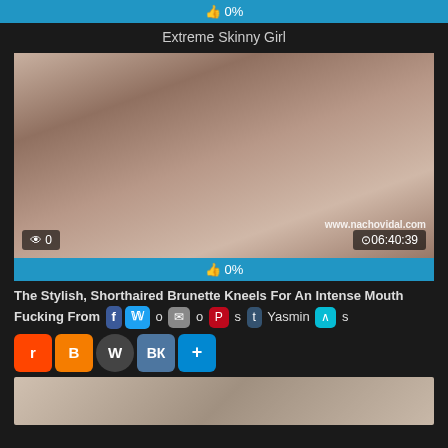[Figure (screenshot): Video thumbnail rating bar showing 0% likes]
Extreme Skinny Girl
[Figure (screenshot): Video thumbnail showing brunette woman, view count 0, duration 06:40:39, watermark www.nachovidal.com]
[Figure (screenshot): Blue rating bar showing 0% thumbs up]
The Stylish, Shorthaired Brunette Kneels For An Intense Mouth Fucking From o s Yasmin s
[Figure (screenshot): Social media sharing buttons: Facebook, Twitter, Email, Pinterest, Tumblr, scroll-up, Reddit, Blogger, WordPress, VK, Add]
[Figure (screenshot): Partial video thumbnail at bottom of page]